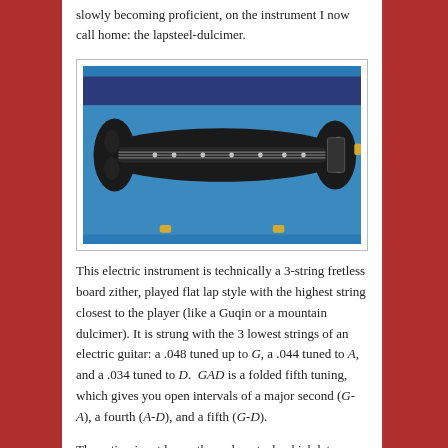slowly becoming proficient, on the instrument I now call home: the lapsteel-dulcimer.
[Figure (photo): A black 3-string lapsteel-dulcimer instrument displayed in a blue velvet-lined case, viewed from above. The instrument is elongated with a dark fretboard and tuning pegs on the right side.]
This electric instrument is technically a 3-string fretless board zither, played flat lap style with the highest string closest to the player (like a Guqin or a mountain dulcimer). It is strung with the 3 lowest strings of an electric guitar: a .048 tuned up to G, a .044 tuned to A, and a .034 tuned to D. GAD is a folded fifth tuning, which gives you open intervals of a major second (G-A), a fourth (A-D), and a fifth (G-D).
The action is set lower than a lap-steel, which lets you play with metal and glass finger slides rather than a bar. You can also play it with fingers, allowing fretting, bends